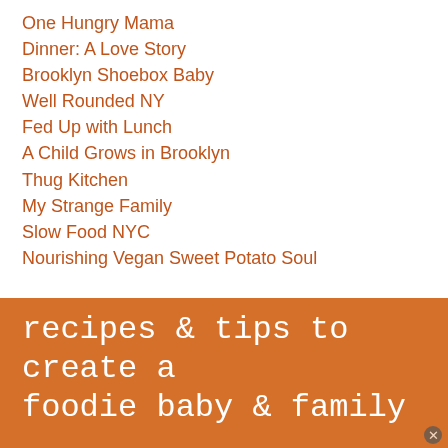One Hungry Mama
Dinner: A Love Story
Brooklyn Shoebox Baby
Well Rounded NY
Fed Up with Lunch
A Child Grows in Brooklyn
Thug Kitchen
My Strange Family
Slow Food NYC
Nourishing Vegan Sweet Potato Soul
recipes & tips to create a foodie baby & family